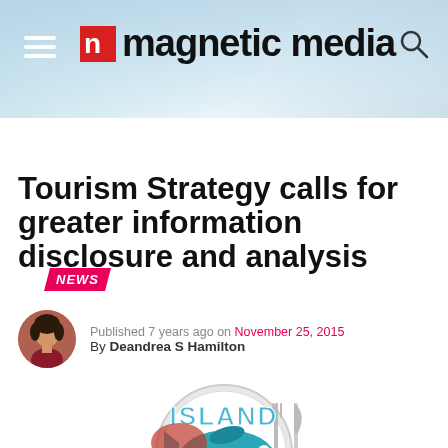magnetic media
NEWS
Tourism Strategy calls for greater information disclosure and analysis
Published 7 years ago on November 25, 2015
By Deandrea S Hamilton
[Figure (logo): Island Fish Fry circular logo with teal cartoon fish, fork and knife, colorful lettering]